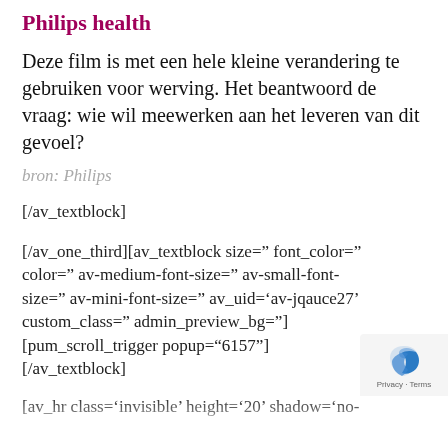Philips health
Deze film is met een hele kleine verandering te gebruiken voor werving. Het beantwoord de vraag: wie wil meewerken aan het leveren van dit gevoel?
bron: Philips
[/av_textblock]
[/av_one_third][av_textblock size=” font_color=” color=” av-medium-font-size=” av-small-font-size=” av-mini-font-size=” av_uid=‘av-jqauce27’ custom_class=” admin_preview_bg=”] [pum_scroll_trigger popup=“6157”] [/av_textblock]
[av_hr class=‘invisible’ height=‘20’ shadow=‘no-